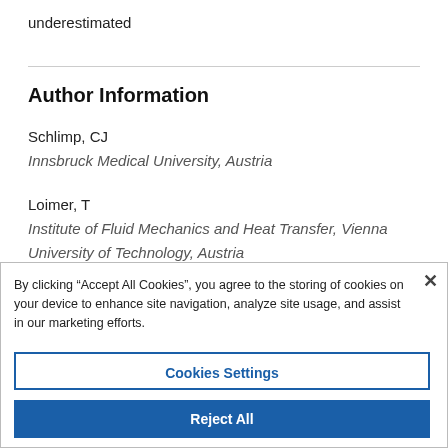underestimated
Author Information
Schlimp, CJ
Innsbruck Medical University, Austria
Loimer, T
Institute of Fluid Mechanics and Heat Transfer, Vienna University of Technology, Austria
By clicking "Accept All Cookies", you agree to the storing of cookies on your device to enhance site navigation, analyze site usage, and assist in our marketing efforts.
Cookies Settings
Reject All